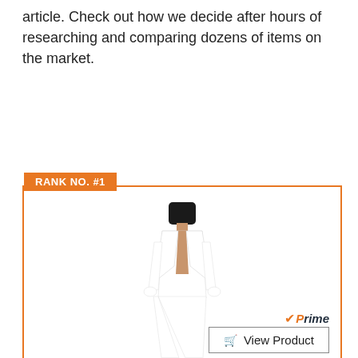article. Check out how we decide after hours of researching and comparing dozens of items on the market.
[Figure (photo): A woman wearing a white 2-piece blazer and pencil pant suit set, shown against a white background. She is wearing high heels and the blazer is open front.]
RANK NO. #1
Aro Lora Women's 2 Piece Outfit Casual Solid Open Front Blazer and Pencil Pant Suits Set Large White
Prime
View Product